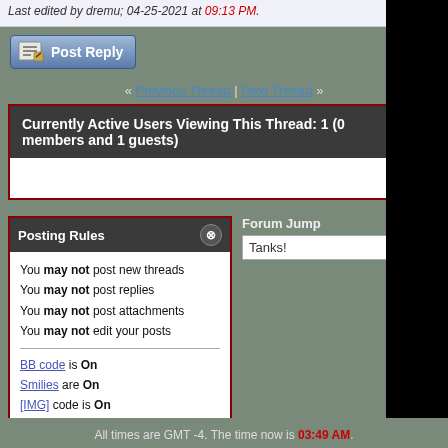Kinda like the guy who built them =))
Last edited by dremu; 04-25-2021 at 09:13 PM.
[Figure (screenshot): Post Reply button with pencil/paper icon]
« Previous Thread | Next Thread »
Currently Active Users Viewing This Thread: 1 (0 members and 1 guests)
Posting Rules
You may not post new threads
You may not post replies
You may not post attachments
You may not edit your posts
BB code is On
Smilies are On
[IMG] code is On
HTML code is Off
Forum Rules
Forum Jump
Tanks!
All times are GMT -4. The time now is 03:49 AM.